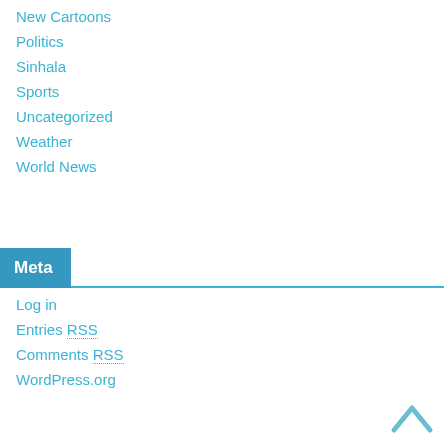New Cartoons
Politics
Sinhala
Sports
Uncategorized
Weather
World News
Meta
Log in
Entries RSS
Comments RSS
WordPress.org